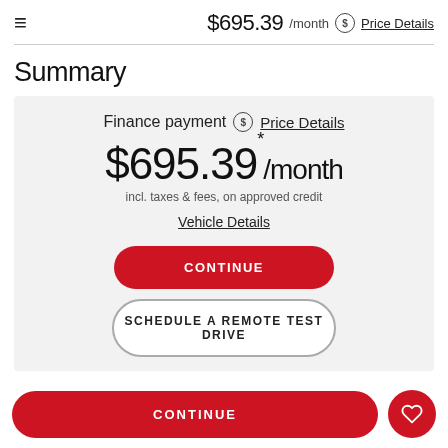$695.39 /month  Price Details
Summary
Finance payment  Price Details
$695.39*/month
incl. taxes & fees, on approved credit
Vehicle Details
CONTINUE
SCHEDULE A REMOTE TEST DRIVE
CONTINUE